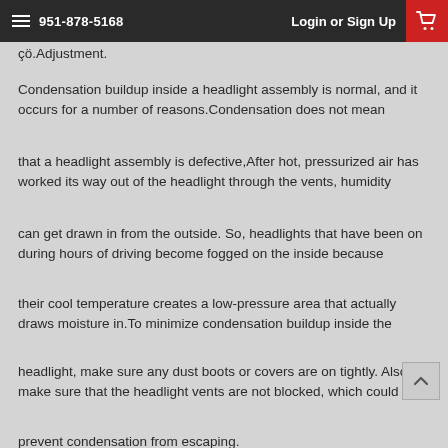951-878-5168  Login or Sign Up
çö.Adjustment.
Condensation buildup inside a headlight assembly is normal, and it occurs for a number of reasons.Condensation does not mean
that a headlight assembly is defective,After hot, pressurized air has worked its way out of the headlight through the vents, humidity
can get drawn in from the outside. So, headlights that have been on during hours of driving become fogged on the inside because
their cool temperature creates a low-pressure area that actually draws moisture in.To minimize condensation buildup inside the
headlight, make sure any dust boots or covers are on tightly. Also make sure that the headlight vents are not blocked, which could
prevent condensation from escaping.
If water collects inside your headlight to the point where puddles form, odds are you've got a crack in the headlight lens cover. Water